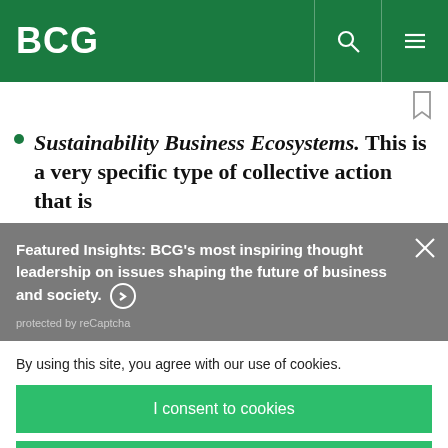BCG
Sustainability Business Ecosystems. This is a very specific type of collective action that is
Featured Insights: BCG's most inspiring thought leadership on issues shaping the future of business and society. ⊙
protected by reCaptcha
By using this site, you agree with our use of cookies.
I consent to cookies
Want to know more?
Read our Cookie Policy